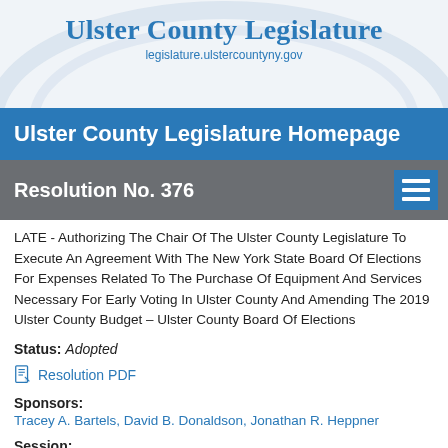Ulster County Legislature
legislature.ulstercountyny.gov
Ulster County Legislature Homepage
Resolution No. 376
LATE - Authorizing The Chair Of The Ulster County Legislature To Execute An Agreement With The New York State Board Of Elections For Expenses Related To The Purchase Of Equipment And Services Necessary For Early Voting In Ulster County And Amending The 2019 Ulster County Budget – Ulster County Board Of Elections
Status: Adopted
Resolution PDF
Sponsors:
Tracey A. Bartels, David B. Donaldson, Jonathan R. Heppner
Session:
August 20, 2019